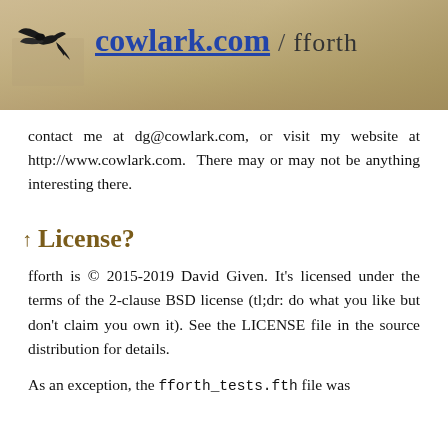cowlark.com / fforth
contact me at dg@cowlark.com, or visit my website at http://www.cowlark.com. There may or may not be anything interesting there.
↑ License?
fforth is © 2015-2019 David Given. It's licensed under the terms of the 2-clause BSD license (tl;dr: do what you like but don't claim you own it). See the LICENSE file in the source distribution for details.
As an exception, the fforth_tests.fth file was